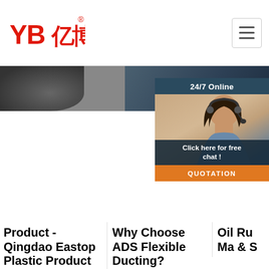YB亿博® [logo] [hamburger menu]
[Figure (screenshot): Hero image strip with dark product photo on left and dark blue background on right]
[Figure (photo): 24/7 Online chat widget with woman wearing headset, 'Click here for free chat!' bubble, orange QUOTATION button]
Product - Qingdao Eastop Plastic Product Co.,Ltd - Page 14
2021-10-13u2002·u2002Large Diameter Anti-abrasion Flexible PVC Steel Wire Reinforced Hose Pipe Tubing The wire reinforced tubing is made of
Why Choose ADS Flexible Ducting? Advanced Duct Systems
2020-9-11u2002·u2002Suitable for industrial vacuum cleaners and granulate conveying systems Properties: Antistatic by grounding copper wire; High tensile strength; Resistant
Oil Ru Ma & S
Che in d Con Hos Rub Rubber Chemical Products, Silicone Rubber Product products a commonly for chemical us